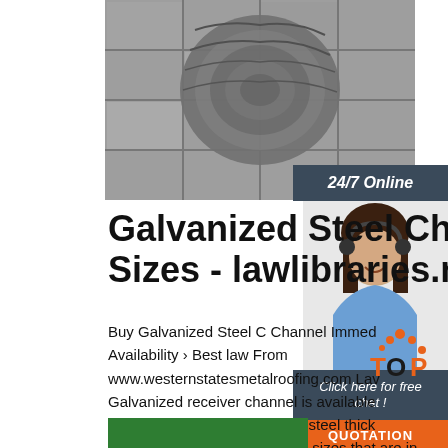[Figure (photo): Coils of galvanized steel wire/cable on a tiled floor, close-up overhead view]
[Figure (photo): Customer service representative - woman wearing headset, smiling, with 24/7 Online banner and chat/quotation overlay]
Galvanized Steel Chan Sizes - lawlibraries.net
Buy Galvanized Steel C Channel Immed Availability › Best law From www.westernstatesmetalroofing.com Lav Galvanized receiver channel is available and 25' lengths in a 14 gauge steel thick the graph below for C channel sizes that are in stock for immediate pick up or delivery. Custom sizes and lengths available with a two week lead time.